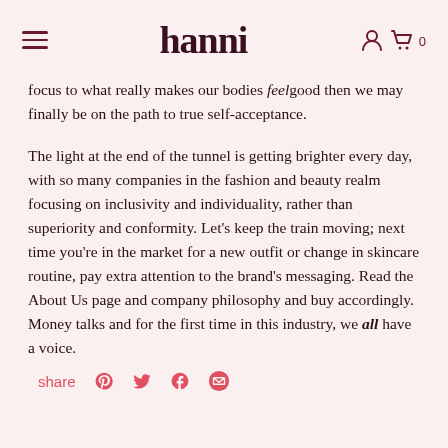hanni
focus to what really makes our bodies feel good then we may finally be on the path to true self-acceptance.
The light at the end of the tunnel is getting brighter every day, with so many companies in the fashion and beauty realm focusing on inclusivity and individuality, rather than superiority and conformity. Let's keep the train moving; next time you're in the market for a new outfit or change in skincare routine, pay extra attention to the brand's messaging. Read the About Us page and company philosophy and buy accordingly. Money talks and for the first time in this industry, we all have a voice.
share